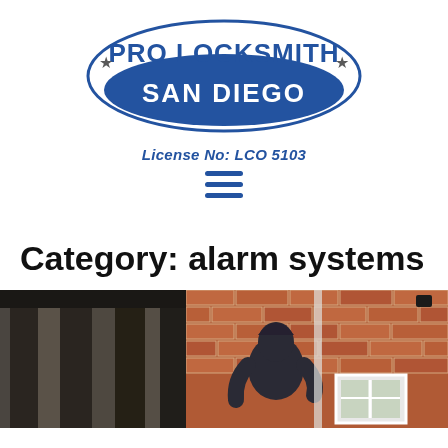[Figure (logo): Pro Locksmith San Diego logo — oval shape with blue background and white text 'PRO LOCKSMITH' arched above 'SAN DIEGO' on a filled blue oval, with small star icons on each side]
License No: LCO 5103
[Figure (other): Hamburger menu icon (three horizontal blue lines)]
Category: alarm systems
[Figure (photo): Two side-by-side photographs: left shows a dark interior corridor or garage with vertical panels/pillars; right shows a person in a dark hoodie near a brick wall and window, suggesting a break-in scenario]